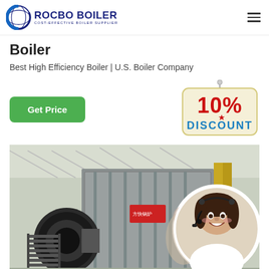[Figure (logo): Rocbo Boiler logo with circular C and globe icon, text ROCBO BOILER and subtitle COST-EFFECTIVE BOILER SUPPLIER]
Boiler
Best High Efficiency Boiler | U.S. Boiler Company
[Figure (illustration): 10% DISCOUNT hanging sign badge with red and blue text on cream background]
[Figure (photo): Industrial boiler equipment in a factory setting, with a circular inset photo of a smiling female customer service representative wearing a headset]